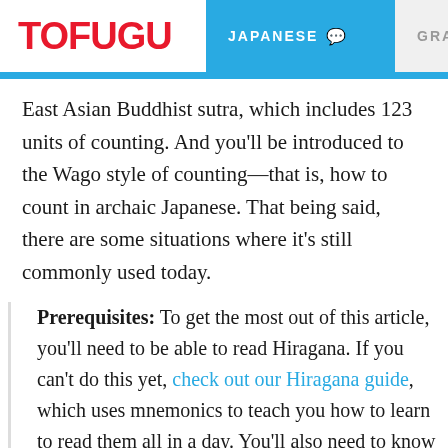TOFUGU | JAPANESE | GRAMMAR
East Asian Buddhist sutra, which includes 123 units of counting. And you'll be introduced to the Wago style of counting—that is, how to count in archaic Japanese. That being said, there are some situations where it's still commonly used today.
Prerequisites: To get the most out of this article, you'll need to be able to read Hiragana. If you can't do this yet, check out our Hiragana guide, which uses mnemonics to teach you how to learn to read them all in a day. You'll also need to know a little kanji,